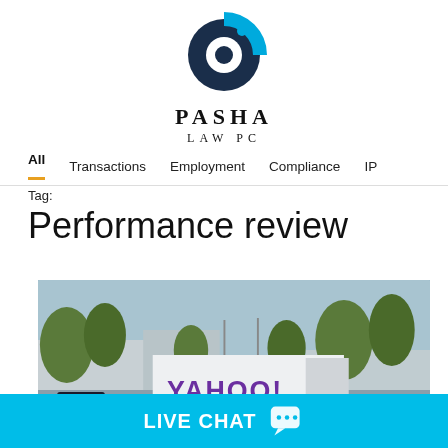[Figure (logo): Pasha Law PC logo with circular blue and dark navy icon above the text PASHA LAW PC]
All  Transactions  Employment  Compliance  IP
Tag:
Performance review
[Figure (photo): Outdoor photo of Yahoo headquarters sign reading YAHOO! 701 FIRST AVENUE with trees and buildings in the background]
LIVE CHAT